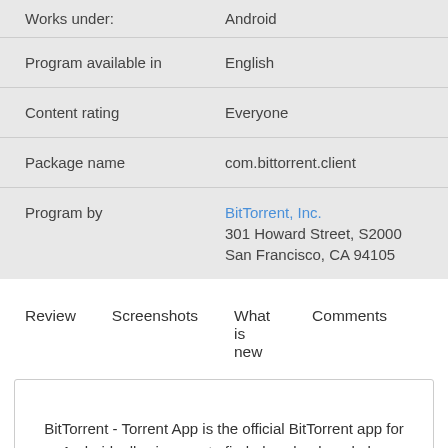| Field | Value |
| --- | --- |
| Works under: | Android |
| Program available in | English |
| Content rating | Everyone |
| Package name | com.bittorrent.client |
| Program by | BitTorrent, Inc.
301 Howard Street, S2000 San Francisco, CA 94105 |
Review   Screenshots   What is new   Comments
BitTorrent - Torrent App is the official BitTorrent app for Android, allowing you to find, download, and play content downloaded